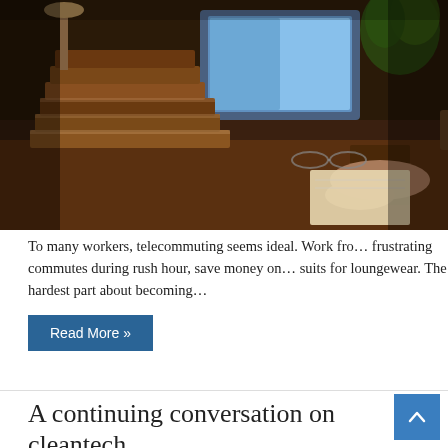[Figure (photo): A cluttered desk with a stack of books in the foreground, a glowing computer monitor in the background, a plant, and a person's hands visible working at the desk. Warm brown tones with a blue monitor glow.]
To many workers, telecommuting seems ideal. Work fro… frustrating commutes during rush hour, save money on… suits for loungewear. The hardest part about becoming…
Read More »
A continuing conversation on cleantech